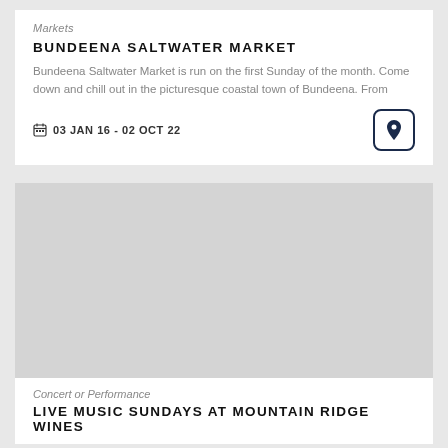Markets
BUNDEENA SALTWATER MARKET
Bundeena Saltwater Market is run on the first Sunday of the month. Come down and chill out in the picturesque coastal town of Bundeena. From
03 JAN 16 - 02 OCT 22
[Figure (photo): Large grey image placeholder for the second event listing]
Concert or Performance
LIVE MUSIC SUNDAYS AT MOUNTAIN RIDGE WINES